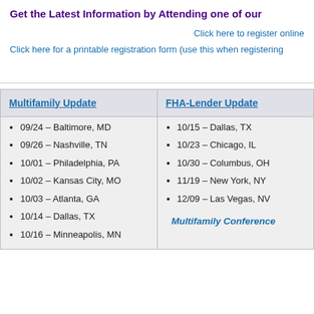Get the Latest Information by Attending one of our
Click here to register online
Click here for a printable registration form (use this when registering
| Multifamily Update | FHA-Lender Update |
| --- | --- |
| 09/24 – Baltimore, MD
09/26 – Nashville, TN
10/01 – Philadelphia, PA
10/02 – Kansas City, MO
10/03 – Atlanta, GA
10/14 – Dallas, TX
10/16 – Minneapolis, MN | 10/15 – Dallas, TX
10/23 – Chicago, IL
10/30 – Columbus, OH
11/19 – New York, NY
12/09 – Las Vegas, NV
Multifamily Conference |